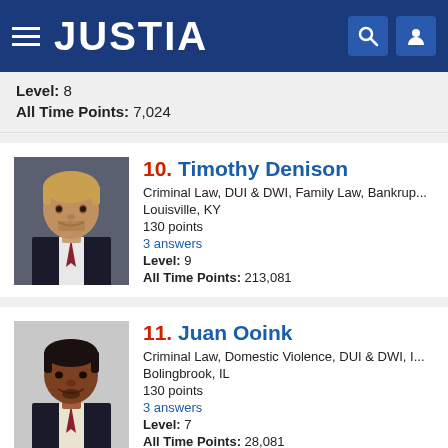JUSTIA
Level: 8
All Time Points: 7,024
10. Timothy Denison
Criminal Law, DUI & DWI, Family Law, Bankrup...
Louisville, KY
130 points
3 answers
Level: 9
All Time Points: 213,081
11. Juan Ooink
Criminal Law, Domestic Violence, DUI & DWI, I...
Bolingbrook, IL
130 points
3 answers
Level: 7
All Time Points: 28,081